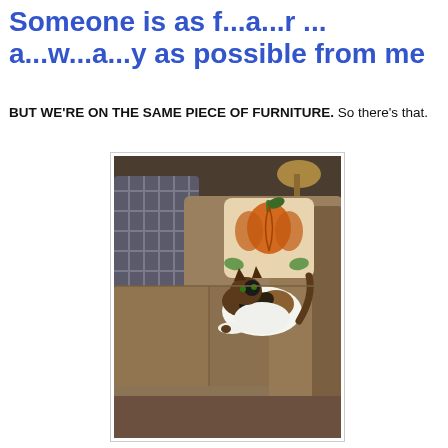Someone is as f...a...r ... a...w...a...y as possible from me
BUT WE'RE ON THE SAME PIECE OF FURNITURE. So there's that.
[Figure (photo): A calico cat lying curled up on a brown/tan sectional sofa. Behind the cat is a decorative pillow with a pumpkin design. In the background is a plaid armchair and a lamp.]